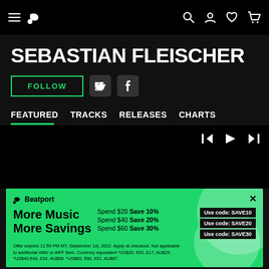Beatport navigation bar with hamburger menu, logo, search, account, wishlist, cart icons
SEBASTIAN FLEISCHER
FOLLOW | Twitter | Facebook
FEATURED   TRACKS   RELEASES   CHARTS
[Figure (screenshot): Beatport music player bar with prev, play, next controls]
[Figure (infographic): Beatport promotional banner: More Music More Savings. Spend $20 Save 10% Use code: SAVE10. Spend $40 Save 20% Use code: SAVE20. Spend $60 Save 30% Use code: SAVE30. Offer expires 11:59 PM MT, September 1st, 2022. Apply at checkout. Not applicable to additional WAV or AIFF fees. Currency equivalent *US$20, €20, £17, AU$29. *US$40,€40, £34, AU$58. *US$60, €60, £51, AU$87.]